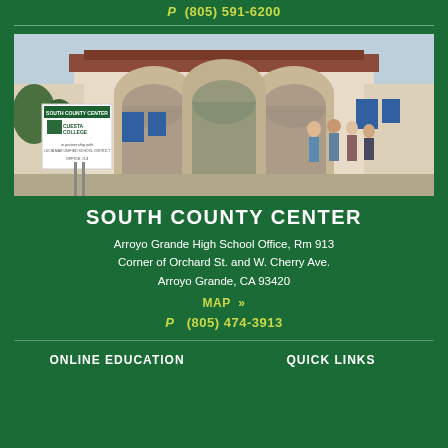P  (805) 591-6200
[Figure (photo): Exterior photo of South County Center building at Arroyo Grande High School, showing arched entrance with students walking out and a Cuesta College sign in front]
SOUTH COUNTY CENTER
Arroyo Grande High School Office, Rm 913
Corner of Orchard St. and W. Cherry Ave.
Arroyo Grande, CA 93420
MAP  »
P  (805) 474-3913
ONLINE EDUCATION
QUICK LINKS